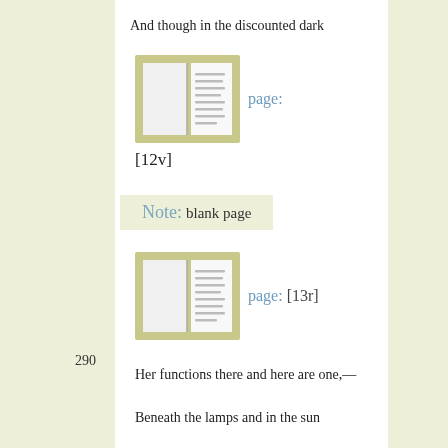And though in the discounted dark
[Figure (illustration): Small book icon thumbnail showing manuscript page 12v]
page: [12v]
Note: blank page
[Figure (illustration): Small book icon thumbnail showing manuscript page 13r]
page: [13r]
290
Her functions there and here are one,—
Beneath the lamps and in the sun